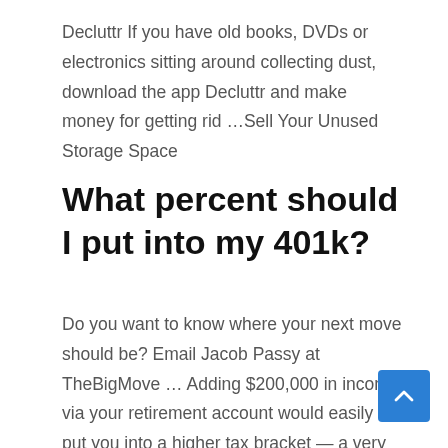Decluttr If you have old books, DVDs or electronics sitting around collecting dust, download the app Decluttr and make money for getting rid …Sell Your Unused Storage Space
What percent should I put into my 401k?
Do you want to know where your next move should be? Email Jacob Passy at TheBigMove … Adding $200,000 in income via your retirement account would easily put you into a higher tax bracket — a very expensive proposition. And really, once tax are …